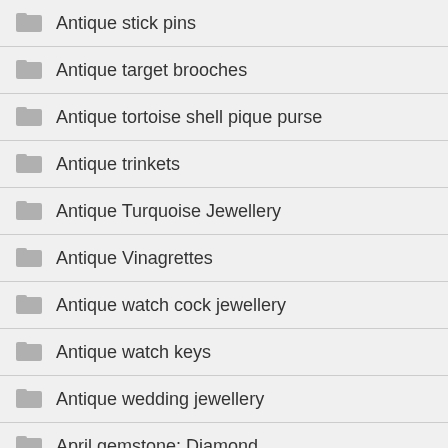Antique stick pins
Antique target brooches
Antique tortoise shell pique purse
Antique trinkets
Antique Turquoise Jewellery
Antique Vinagrettes
Antique watch cock jewellery
Antique watch keys
Antique wedding jewellery
April gemstone: Diamond